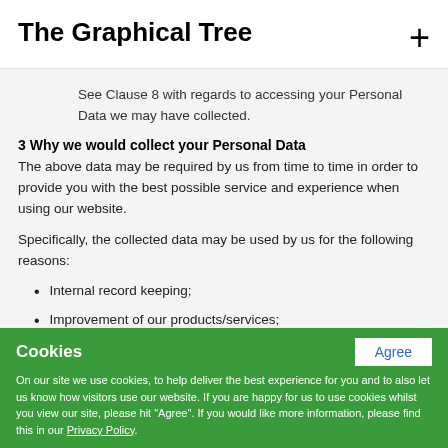The Graphical Tree
See Clause 8 with regards to accessing your Personal Data we may have collected.
3 Why we would collect your Personal Data
The above data may be required by us from time to time in order to provide you with the best possible service and experience when using our website.
Specifically, the collected data may be used by us for the following reasons:
Internal record keeping;
Improvement of our products/services;
Cookies
On our site we use cookies, to help deliver the best experience for you and to also let us know how visitors use our website. If you are happy for us to use cookies whilst you view our site, please hit "Agree". If you would like more information, please find this in our Privacy Policy.